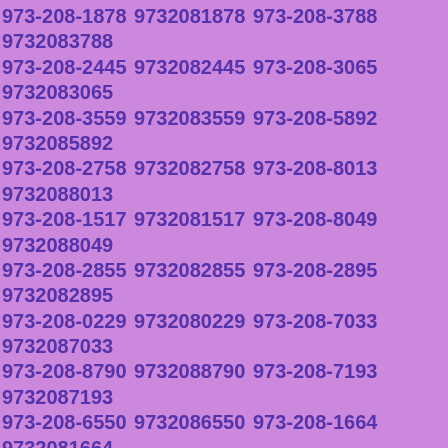973-208-1878 9732081878 973-208-3788 9732083788 973-208-2445 9732082445 973-208-3065 9732083065 973-208-3559 9732083559 973-208-5892 9732085892 973-208-2758 9732082758 973-208-8013 9732088013 973-208-1517 9732081517 973-208-8049 9732088049 973-208-2855 9732082855 973-208-2895 9732082895 973-208-0229 9732080229 973-208-7033 9732087033 973-208-8790 9732088790 973-208-7193 9732087193 973-208-6550 9732086550 973-208-1664 9732081664 973-208-4141 9732084141 973-208-2385 9732082385 973-208-0583 9732080583 973-208-1829 9732081829 973-208-3891 9732083891 973-208-9188 9732089188 973-208-6014 9732086014 973-208-3938 9732083938 973-208-2065 9732082065 973-208-4561 9732084561 973-208-8788 9732088788 973-208-6461 9732086461 973-208-6045 9732086045 973-208-8749 9732088749 973-208-6224 9732086224 973-208-1860 9732081860 973-208-2547 9732082547 973-208-4859 9732084859 973-208-2872 9732082872 973-208-9279 9732089279 973-208-4879 9732084879 973-208-3028 9732083028 973-208-0076 9732080076 973-208-7507 9732087507